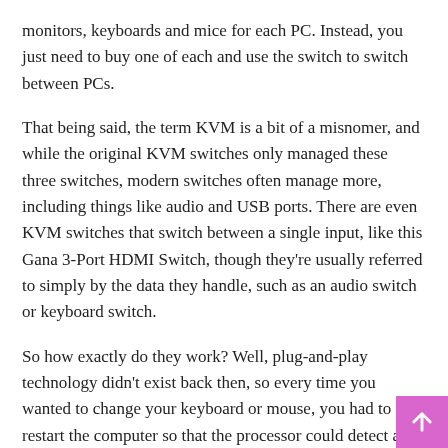monitors, keyboards and mice for each PC. Instead, you just need to buy one of each and use the switch to switch between PCs.
That being said, the term KVM is a bit of a misnomer, and while the original KVM switches only managed these three switches, modern switches often manage more, including things like audio and USB ports. There are even KVM switches that switch between a single input, like this Gana 3-Port HDMI Switch, though they’re usually referred to simply by the data they handle, such as an audio switch or keyboard switch.
So how exactly do they work? Well, plug-and-play technology didn’t exist back then, so every time you wanted to change your keyboard or mouse, you had to restart the computer so that the processor could detect all the devices. Although that’s no longer the case, KVM switches still do something similar in that they trick the processor into thinking there’s a connection, so when you do eventually switch, anything goes good.